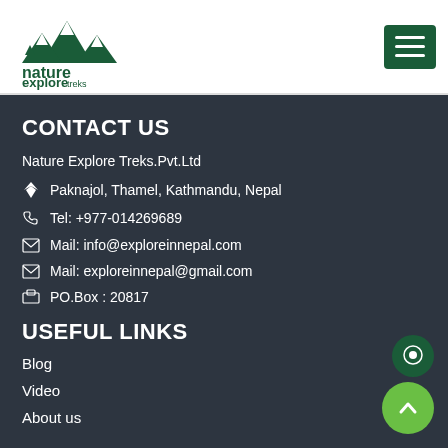[Figure (logo): Nature Explore Treks logo with mountain and trees illustration in dark green]
[Figure (other): Hamburger menu button, dark green rectangle with three white horizontal lines]
CONTACT US
Nature Explore Treks.Pvt.Ltd
Paknajol, Thamel, Kathmandu, Nepal
Tel: +977-014269689
Mail: info@exploreinnepal.com
Mail: exploreinnepal@gmail.com
PO.Box : 20817
USEFUL LINKS
Blog
Video
About us